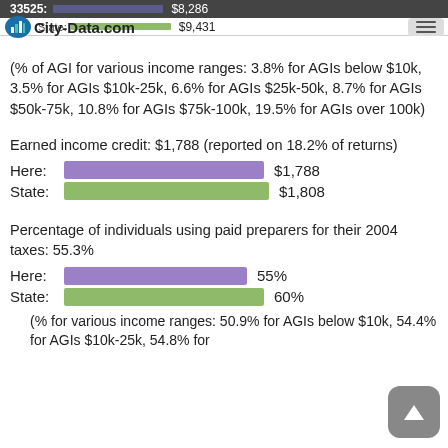33525  $8,286  State: $9,431 — City-Data.com
(% of AGI for various income ranges: 3.8% for AGIs below $10k, 3.5% for AGIs $10k-25k, 6.6% for AGIs $25k-50k, 8.7% for AGIs $50k-75k, 10.8% for AGIs $75k-100k, 19.5% for AGIs over 100k)
Earned income credit: $1,788 (reported on 18.2% of returns)
[Figure (bar-chart): Earned income credit comparison]
Percentage of individuals using paid preparers for their 2004 taxes: 55.3%
[Figure (bar-chart): Paid preparers percentage comparison]
(% for various income ranges: 50.9% for AGIs below $10k, 54.4% for AGIs $10k-25k, 54.8% for